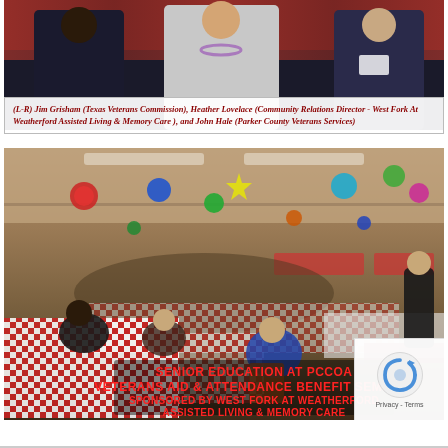[Figure (photo): Photo of three people standing together: Jim Grisham (Texas Veterans Commission), Heather Lovelace (Community Relations Director - West Fork At Weatherford Assisted Living & Memory Care), and John Hale (Parker County Veterans Services), with decorative metallic background.]
(L-R) Jim Grisham (Texas Veterans Commission), Heather Lovelace (Community Relations Director - West Fork At Weatherford Assisted Living & Memory Care ), and John Hale (Parker County Veterans Services)
[Figure (photo): Photo of a Senior Education at PCCOA Veterans Aid & Attendance Benefit Seminar held in a banquet hall with red-checkered tablecloths, colorful hanging decorations, and many attendees seated at tables. A speaker stands at a podium on the right. Text overlay reads: SENIOR EDUCATION AT PCCOA VETERANS AID & ATTENDANCE BENEFIT SEMINAR SPONSORED BY WEST FORK AT WEATHERFORD ASSISTED LIVING & MEMORY CARE]